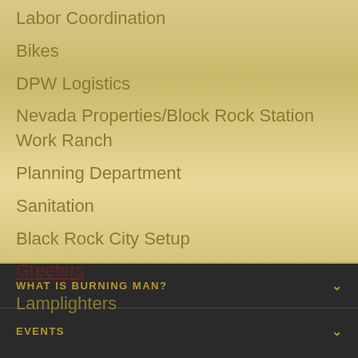Labor Coordination
Bikes
DPW Logistics
Nevada Properties/Block Rock Station Work Ranch
Planning Department
Sanitation
Black Rock City Setup
Greeters
Lamplighters
WHAT IS BURNING MAN?
EVENTS